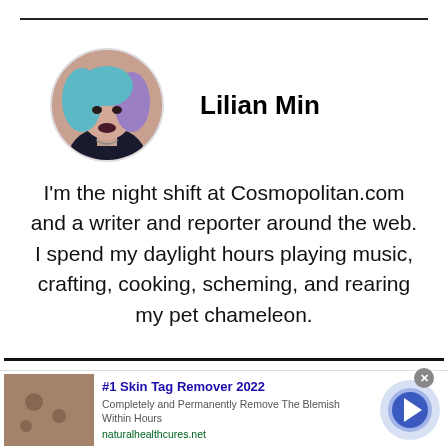[Figure (photo): Circular profile photo of Lilian Min, a young woman with teal and purple hair, dark lipstick, wearing dark clothing with a necklace.]
Lilian Min
I'm the night shift at Cosmopolitan.com and a writer and reporter around the web. I spend my daylight hours playing music, crafting, cooking, scheming, and rearing my pet chameleon.
[Figure (photo): Advertisement: #1 Skin Tag Remover 2022 - photo of skin with moles/tags. Completely and Permanently Remove The Blemish Within Hours. naturalhealthcures.net]